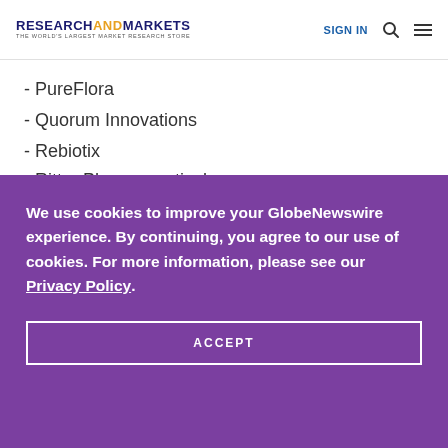RESEARCHANDMARKETS THE WORLD'S LARGEST MARKET RESEARCH STORE | SIGN IN
- PureFlora
- Quorum Innovations
- Rebiotix
- Ritter Pharmaceuticals
We use cookies to improve your GlobeNewswire experience. By continuing, you agree to our use of cookies. For more information, please see our Privacy Policy.
ACCEPT